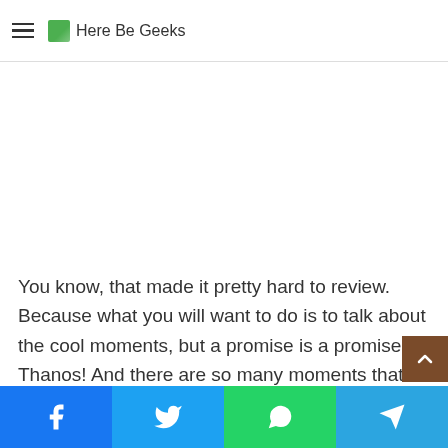Here Be Geeks
[Figure (other): Advertisement / blank image area]
You know, that made it pretty hard to review. Because what you will want to do is to talk about the cool moments, but a promise is a promise, Thanos! And there are so many moments that will make any geek want to shout for joy. It's not just a matter of who lives or dies, but even the mere appearance of certain objects or people is such a thrill.
Share buttons: Facebook, Twitter, WhatsApp, Telegram